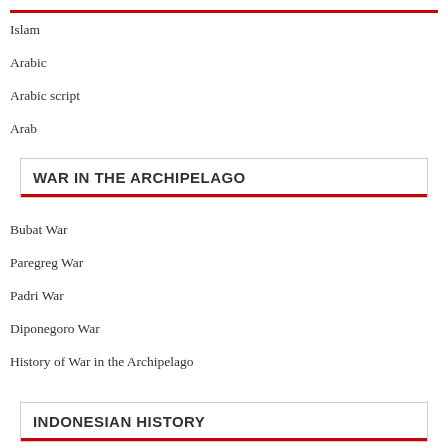Islam
Arabic
Arabic script
Arab
WAR IN THE ARCHIPELAGO
Bubat War
Paregreg War
Padri War
Diponegoro War
History of War in the Archipelago
INDONESIAN HISTORY